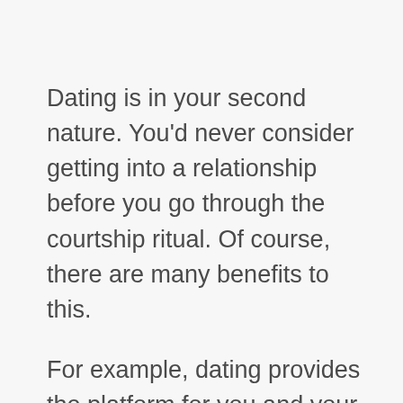Dating is in your second nature. You'd never consider getting into a relationship before you go through the courtship ritual. Of course, there are many benefits to this.
For example, dating provides the platform for you and your potential mate to know each other better. You get a chance to understand the needs of your loved one. Similarly,